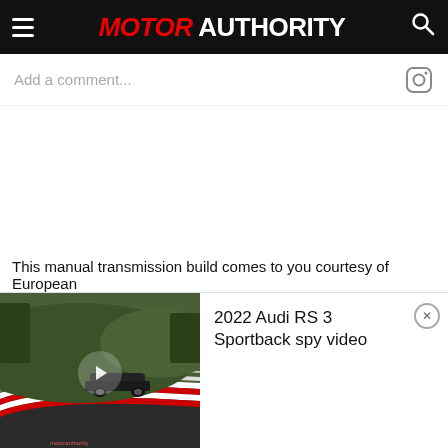MOTOR AUTHORITY
Add a comment...
This manual transmission build comes to you courtesy of European
[Figure (screenshot): Video widget showing 2022 Audi RS 3 Sportback spy video on the Nurburgring race track, with a play button overlay on the thumbnail and close button on the right side.]